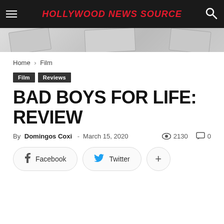HOLLYWOOD NEWS SOURCE
[Figure (illustration): Decorative banner background with paper/document shapes on grey gradient]
Home › Film
Film  Reviews
BAD BOYS FOR LIFE: REVIEW
By Domingos Coxi - March 15, 2020  👁 2130  💬 0
Facebook  Twitter  +